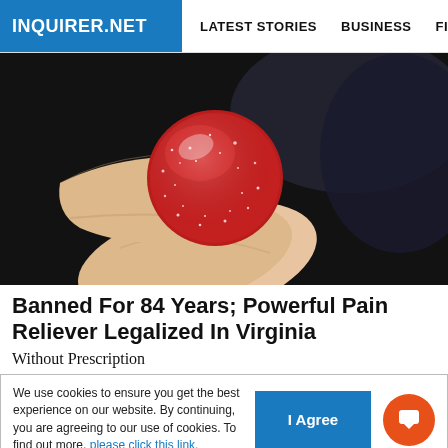INQUIRER.NET   LATEST STORIES   BUSINESS   FINANCE   TECHNOLO
[Figure (photo): Close-up photo of a hand holding a red sugar-coated gummy candy against a dark background]
Banned For 84 Years; Powerful Pain Reliever Legalized In Virginia
Without Prescription
We use cookies to ensure you get the best experience on our website. By continuing, you are agreeing to our use of cookies. To find out more, please click this link.